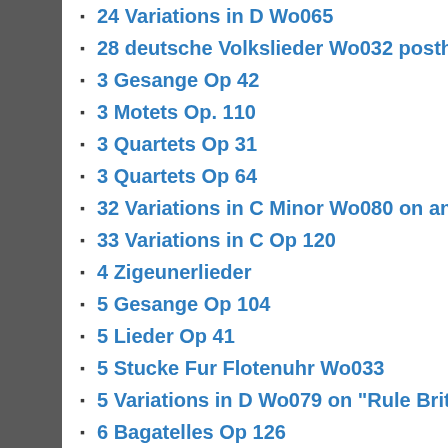24 Variations in D Wo065
28 deutsche Volkslieder Wo032 posth
3 Gesange Op 42
3 Motets Op. 110
3 Quartets Op 31
3 Quartets Op 64
32 Variations in C Minor Wo080 on an original theme
33 Variations in C Op 120
4 Zigeunerlieder
5 Gesange Op 104
5 Lieder Op 41
5 Stucke Fur Flotenuhr Wo033
5 Variations in D Wo079 on "Rule Britannia"
6 Bagatelles Op 126
6 Easy Variations in F Wo064 on a Swiss Air
6 Ecossaises Wo083
6 Quartets Op 112
6 Variations in G Op 34 on an original theme
6 Variations in G Wo070
6 Variations in G Wo077 on an Original Theme
65 Days Left
7 Bagatelles Op 33